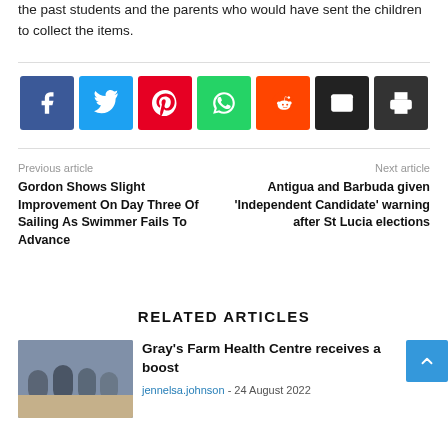the past students and the parents who would have sent the children to collect the items.
[Figure (other): Social media sharing buttons: Facebook, Twitter, Pinterest, WhatsApp, Reddit, Email, Print]
Previous article
Gordon Shows Slight Improvement On Day Three Of Sailing As Swimmer Fails To Advance
Next article
Antigua and Barbuda given 'Independent Candidate' warning after St Lucia elections
RELATED ARTICLES
[Figure (photo): Thumbnail photo of people at Gray's Farm Health Centre]
Gray's Farm Health Centre receives a boost
jennelsa.johnson - 24 August 2022